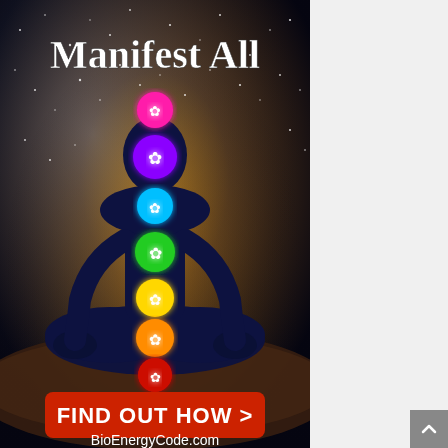[Figure (illustration): Advertisement image for BioEnergyCode.com showing a meditating figure silhouetted in dark blue/indigo against a cosmic starfield and warm glowing background. The figure is seated in lotus position. Seven chakra symbols are displayed vertically along the body in colors from bottom to top: red, orange, yellow, green, light blue, purple, pink. At the top in white bold serif text: 'Manifest All'. Below the figure is a red rounded-rectangle button with white bold text 'FIND OUT HOW >'. At the bottom in white text: 'BioEnergyCode.com'.]